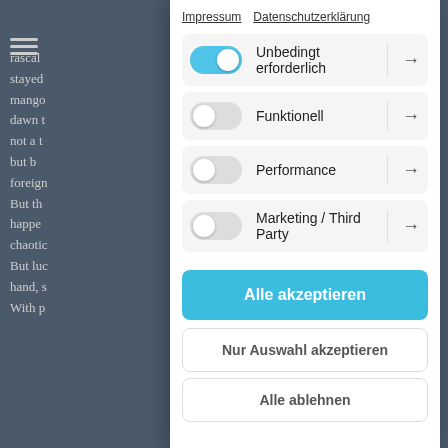[Figure (screenshot): Background webpage with dark overlay text partially visible on left side, showing a travel/nature scene]
Impressum   Datenschutzerklärung
Unbedingt erforderlich — toggle ON
Funktionell — toggle OFF
Performance — toggle OFF
Marketing / Third Party — toggle OFF
Alle akzeptieren
Nur Auswahl akzeptieren
Alle ablehnen